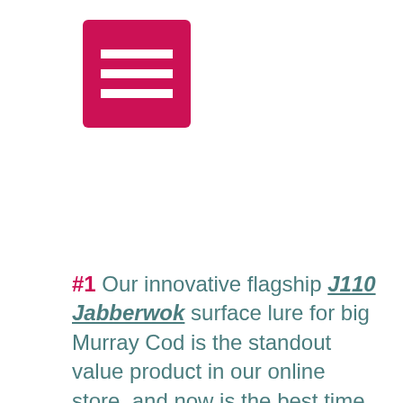[Figure (other): Pink/crimson hamburger menu icon button (three horizontal white lines on a pink square background)]
#1 Our innovative flagship J110 Jabberwok surface lure for big Murray Cod is the standout value product in our online store, and now is the best time of year to give this unique lure a swim around the